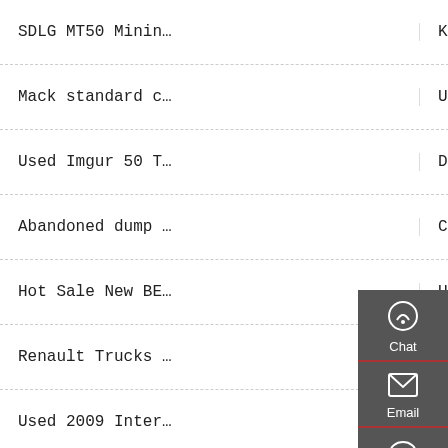SDLG MT50 Minin…
Komatsu HA250 H…
Mack standard c…
Used Yards of d…
Used Imgur 50 T…
Dump Truck Driv…
Abandoned dump …
Cheap Sinotruck…
Hot Sale New BE…
Used 75km h 371…
Renault Trucks …
Used Search for…
Used 2009 Inter…
2020 VOLVO VHD8…